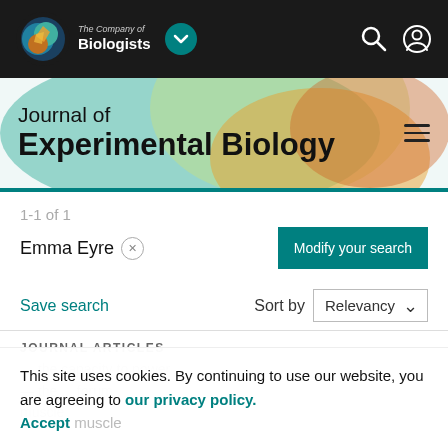[Figure (logo): The Company of Biologists logo and navigation bar with teal dropdown button, search icon, and user icon on dark background]
Journal of Experimental Biology
1-1 of 1
Emma Eyre ×
Modify your search
Save search
Sort by Relevancy
JOURNAL ARTICLES
This site uses cookies. By continuing to use our website, you are agreeing to our privacy policy. Accept